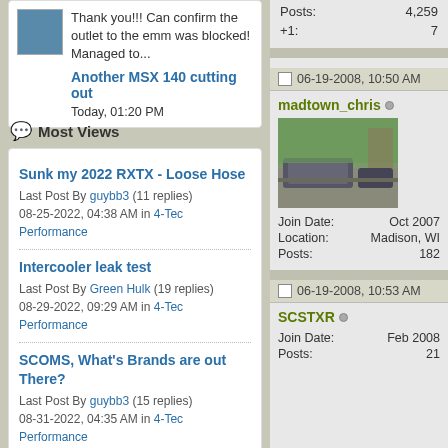Thank you!!! Can confirm the outlet to the emm was blocked! Managed to...
Another MSX 140 cutting out
Today, 01:20 PM
Most Views
Sunk my 2022 RXTX - Loose Hose
Last Post By guybb3 (11 replies) 08-25-2022, 04:38 AM in 4-Tec Performance
Intercooler leak test
Last Post By Green Hulk (19 replies) 08-29-2022, 09:29 AM in 4-Tec Performance
SCOMS, What's Brands are out There?
Last Post By guybb3 (15 replies) 08-31-2022, 04:35 AM in 4-Tec Performance
| Posts: | 4,259 |
| --- | --- |
| +1: | 7 |
06-19-2008, 10:50 AM
madtown_chris
[Figure (photo): Photo of a vehicle on a road with trees in background]
| Join Date: | Oct 2007 |
| Location: | Madison, WI |
| Posts: | 182 |
06-19-2008, 10:53 AM
SCSTXR
| Join Date: | Feb 2008 |
| Posts: | 21 |